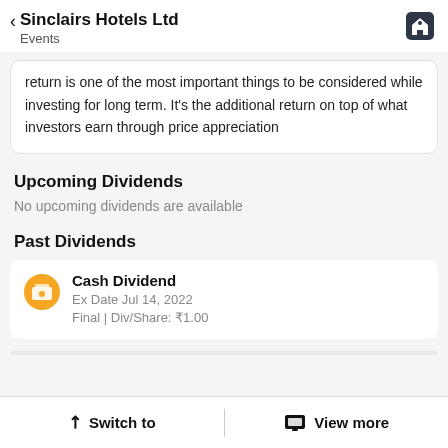Sinclairs Hotels Ltd | Events
return is one of the most important things to be considered while investing for long term. It's the additional return on top of what investors earn through price appreciation
Upcoming Dividends
No upcoming dividends are available
Past Dividends
Cash Dividend
Ex Date Jul 14, 2022
Final | Div/Share: ₹1.00
Switch to | View more